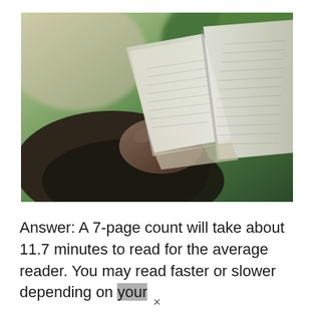[Figure (photo): Close-up photo of a person's hand holding open a book, fanning the pages. Blurred green foliage in the background. The pages of the book are visible with text lines, photographed at an angle.]
Answer: A 7-page count will take about 11.7 minutes to read for the average reader. You may read faster or slower depending on your